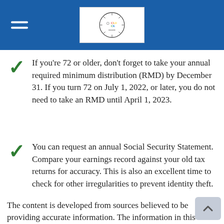Clock Finance header with logo
If you're 72 or older, don't forget to take your annual required minimum distribution (RMD) by December 31. If you turn 72 on July 1, 2022, or later, you do not need to take an RMD until April 1, 2023.
You can request an annual Social Security Statement. Compare your earnings record against your old tax returns for accuracy. This is also an excellent time to check for other irregularities to prevent identity theft.
The content is developed from sources believed to be providing accurate information. The information in this